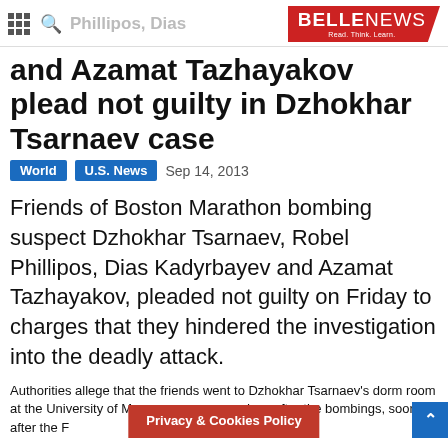BELLE NEWS - Read. Think. Learn.
and Azamat Tazhayakov plead not guilty in Dzhokhar Tsarnaev case
World  U.S. News  Sep 14, 2013
Friends of Boston Marathon bombing suspect Dzhokhar Tsarnaev, Robel Phillipos, Dias Kadyrbayev and Azamat Tazhayakov, pleaded not guilty on Friday to charges that they hindered the investigation into the deadly attack.
Authorities allege that the friends went to Dzhokhar Tsarnaev's dorm room at the University of Mass... days after the bombings, soon after the F... of Dzhokhar